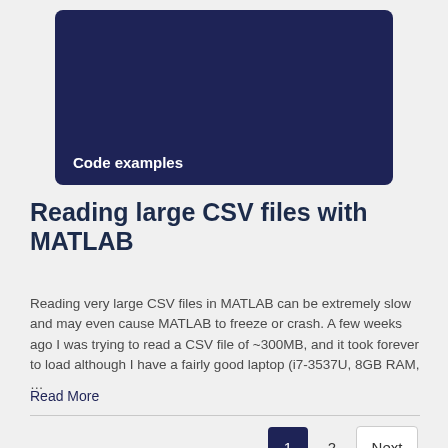[Figure (screenshot): Dark navy blue rectangular card thumbnail with 'Code examples' label text in white at the bottom left]
Reading large CSV files with MATLAB
Reading very large CSV files in MATLAB can be extremely slow and may even cause MATLAB to freeze or crash. A few weeks ago I was trying to read a CSV file of ~300MB, and it took forever to load although I have a fairly good laptop (i7-3537U, 8GB RAM, …
Read More
1  2  Next